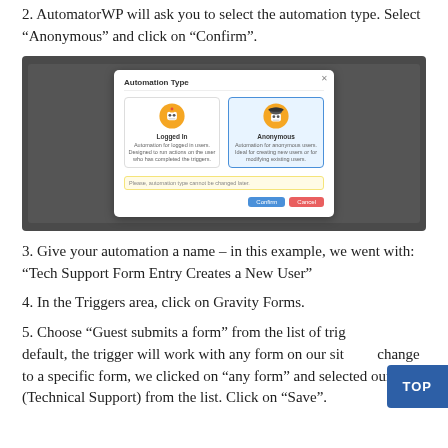2. AutomatorWP will ask you to select the automation type. Select “Anonymous” and click on “Confirm”.
[Figure (screenshot): A screenshot of the AutomatorWP WordPress admin interface showing an 'Automation Type' modal dialog. The dialog shows two options: 'Logged In' (robot icon, yellow) and 'Anonymous' (robot with hat icon, highlighted in blue). There is a warning text and Confirm/Cancel buttons at the bottom.]
3. Give your automation a name – in this example, we went with: “Tech Support Form Entry Creates a New User”
4. In the Triggers area, click on Gravity Forms.
5. Choose “Guest submits a form” from the list of triggers. By default, the trigger will work with any form on our site. To change to a specific form, we clicked on “any form” and selected ours (Technical Support) from the list. Click on “Save”.